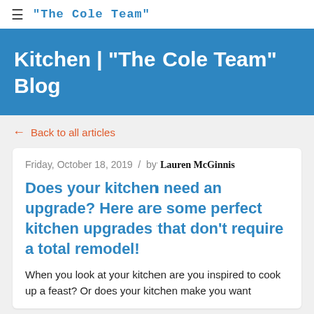"The Cole Team"
Kitchen | "The Cole Team" Blog
← Back to all articles
Friday, October 18, 2019  /  by Lauren McGinnis
Does your kitchen need an upgrade? Here are some perfect kitchen upgrades that don't require a total remodel!
When you look at your kitchen are you inspired to cook up a feast? Or does your kitchen make you want